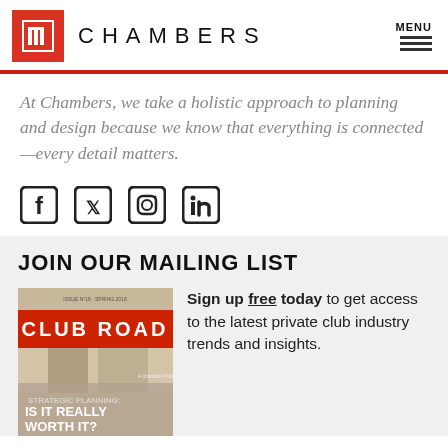[Figure (logo): Chambers logo with red square icon and CHAMBERS text in spaced uppercase letters, plus hamburger menu icon with MENU label]
At Chambers, we take a holistic approach to planning and design because we know that everything is connected—every detail matters.
[Figure (illustration): Social media icons: Facebook, Twitter, Instagram, LinkedIn]
JOIN OUR MAILING LIST
[Figure (photo): Club Road magazine cover with red banner and text: CLUB ROAD, STRATEGIC PLANNING: IS IT REALLY WORTH IT?]
Sign up free today to get access to the latest private club industry trends and insights.